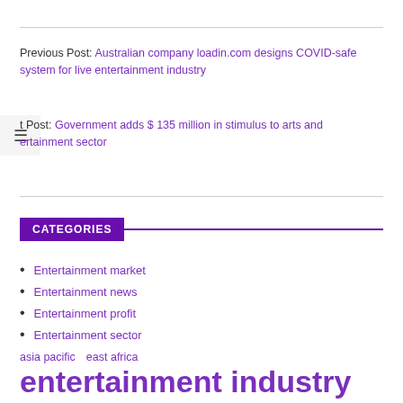Previous Post: Australian company loadin.com designs COVID-safe system for live entertainment industry
Next Post: Government adds $ 135 million in stimulus to arts and entertainment sector
CATEGORIES
Entertainment market
Entertainment news
Entertainment profit
Entertainment sector
asia pacific   east africa   entertainment industry